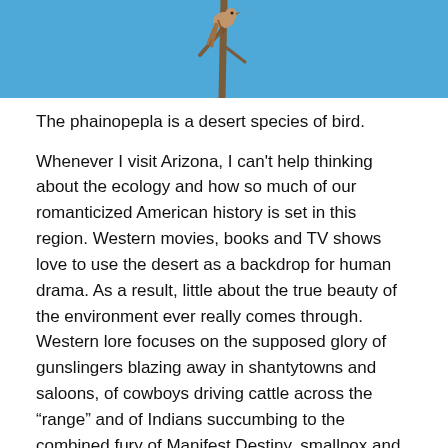[Figure (photo): A bird (phainopepla) perched on a bare branch against a bright blue sky, photographed from below at close range.]
The phainopepla is a desert species of bird.
Whenever I visit Arizona, I can't help thinking about the ecology and how so much of our romanticized American history is set in this region. Western movies, books and TV shows love to use the desert as a backdrop for human drama. As a result, little about the true beauty of the environment ever really comes through. Western lore focuses on the supposed glory of gunslingers blazing away in shantytowns and saloons, of cowboys driving cattle across the “range” and of Indians succumbing to the combined fury of Manifest Destiny, smallpox and cultural destruction. I’ve yet to hear a truly cogent explanation of how that was all romantic in any way.